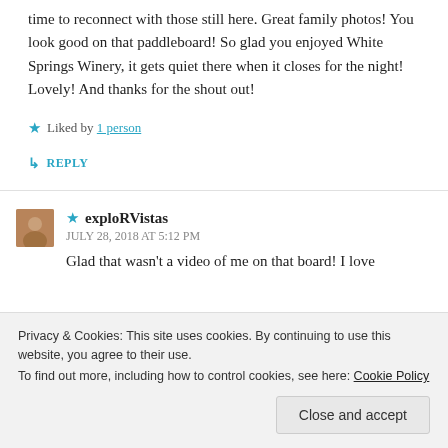time to reconnect with those still here. Great family photos! You look good on that paddleboard! So glad you enjoyed White Springs Winery, it gets quiet there when it closes for the night! Lovely! And thanks for the shout out!
★ Liked by 1 person
↳ REPLY
★ exploRVistas
JULY 28, 2018 AT 5:12 PM
Glad that wasn't a video of me on that board! I love
Privacy & Cookies: This site uses cookies. By continuing to use this website, you agree to their use.
To find out more, including how to control cookies, see here: Cookie Policy
Close and accept